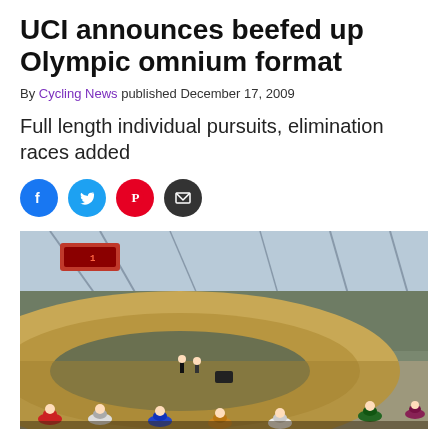UCI announces beefed up Olympic omnium format
By Cycling News published December 17, 2009
Full length individual pursuits, elimination races added
[Figure (photo): Indoor velodrome with cyclists racing on a banked track, spectators in the stands, modern roof structure visible above.]